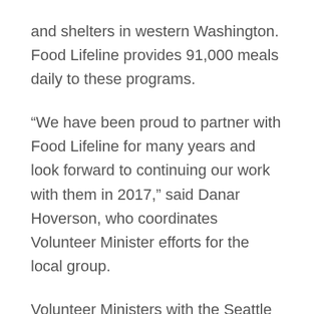and shelters in western Washington. Food Lifeline provides 91,000 meals daily to these programs.
“We have been proud to partner with Food Lifeline for many years and look forward to continuing our work with them in 2017,” said Danar Hoverson, who coordinates Volunteer Minister efforts for the local group.
Volunteer Ministers with the Seattle Church of Scientology recently completed a semiannual sock drive and delivered hundreds pairs of socks to local Seattle charities that support the homeless, including the Queen Anne Helpline, 157 Roy Street Men’s Shelter, and the Queen Anne Food Bank.